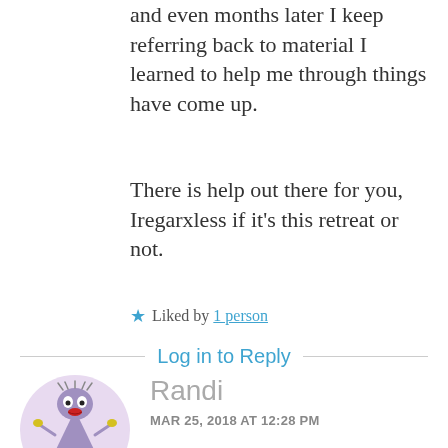and even months later I keep referring back to material I learned to help me through things have come up.
There is help out there for you, Iregarxless if it's this retreat or not.
★ Liked by 1 person
Log in to Reply
Randi
MAR 25, 2018 AT 12:28 PM
Damn you auto correct , last line ...there's help out there for you regardless if it's not the retreat or not.